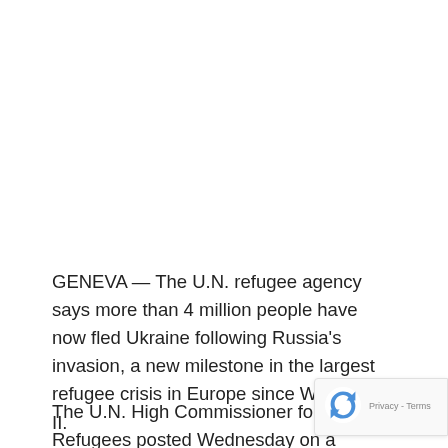GENEVA — The U.N. refugee agency says more than 4 million people have now fled Ukraine following Russia's invasion, a new milestone in the largest refugee crisis in Europe since World War II.
The U.N. High Commissioner for Refugees posted Wednesday on a website that tracks refugee flows around the world that 4.01 million people have now fled Ukraine.